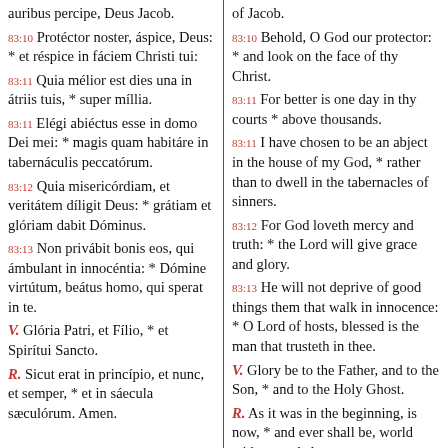auribus percipe, Deus Jacob. 83:10 Protéctor noster, áspice, Deus: * et réspice in fáciem Christi tui: 83:11 Quia mélior est dies una in átriis tuis, * super míllia. 83:11 Elégi abiéctus esse in domo Dei mei: * magis quam habitáre in tabernáculis peccatórum. 83:12 Quia misericórdiam, et veritátem díligit Deus: * grátiam et glóriam dabit Dóminus. 83:13 Non privábit bonis eos, qui ámbulant in innocéntia: * Dómine virtútum, beátus homo, qui sperat in te. V. Glória Patri, et Fílio, * et Spirítui Sancto. R. Sicut erat in princípio, et nunc, et semper, * et in sáecula sæculórum. Amen.
of Jacob. 83:10 Behold, O God our protector: * and look on the face of thy Christ. 83:11 For better is one day in thy courts * above thousands. 83:11 I have chosen to be an abject in the house of my God, * rather than to dwell in the tabernacles of sinners. 83:12 For God loveth mercy and truth: * the Lord will give grace and glory. 83:13 He will not deprive of good things them that walk in innocence: * O Lord of hosts, blessed is the man that trusteth in thee. V. Glory be to the Father, and to the Son, * and to the Holy Ghost. R. As it was in the beginning, is now, * and ever shall be, world without end. Amen.